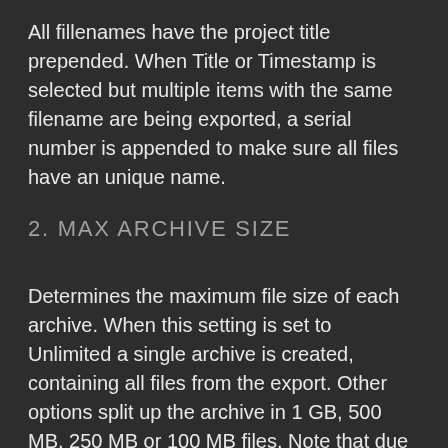All fillenames have the project title prepended. When Title or Timestamp is selected but multiple items with the same filename are being exported, a serial number is appended to make sure all files have an unique name.
2. MAX ARCHIVE SIZE
Determines the maximum file size of each archive. When this setting is set to Unlimited a single archive is created, containing all files from the export. Other options split up the archive in 1 GB, 500 MB, 250 MB or 100 MB files. Note that due to the limited memory available on the iPad, it might be necessary to split up the archive when exporting a large batch of